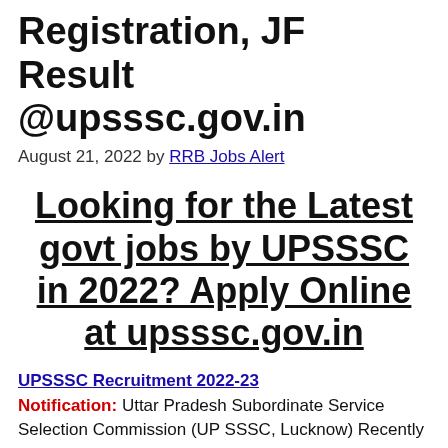Registration, JF Result @upsssc.gov.in
August 21, 2022 by RRB Jobs Alert
Looking for the Latest govt jobs by UPSSSC in 2022? Apply Online at upsssc.gov.in
UPSSSC Recruitment 2022-23 Notification: Uttar Pradesh Subordinate Service Selection Commission (UP SSSC, Lucknow) Recently published Preliminary Examination Test (PET) 2022 (UPSSSC